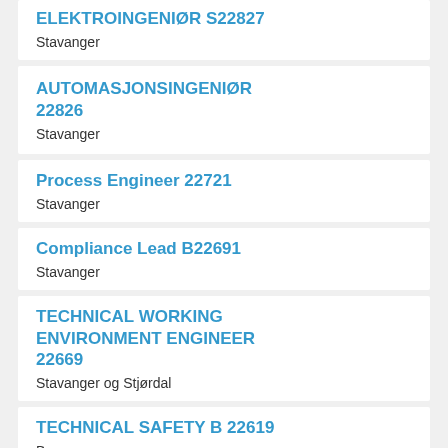ELEKTROINGENIØR S22827
Stavanger
AUTOMASJONSINGENIØR 22826
Stavanger
Process Engineer 22721
Stavanger
Compliance Lead B22691
Stavanger
TECHNICAL WORKING ENVIRONMENT ENGINEER 22669
Stavanger og Stjørdal
TECHNICAL SAFETY B 22619
Bergen